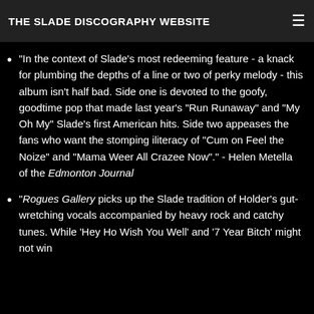THE SLADE DISCOGRAPHY WEBSITE
Supply, and concluded 'They may be long in the tooth, but they haven't lost their bite.'
"In the context of Slade's most redeeming feature - a knack for plumbing the depths of a line or two of perky melody - this album isn't half bad. Side one is devoted to the goofy, goodtime pop that made last year's "Run Runaway" and "My Oh My" Slade's first American hits. Side two appeases the fans who want the stomping iliteracy of "Cum on Feel the Noize" and "Mama Weer All Crazee Now"." - Helen Metella of the Edmonton Journal
"Rogues Gallery picks up the Slade tradition of Holder's gut-wretching vocals accompanied by heavy rock and catchy tunes. While 'Hey Ho Wish You Well' and '7 Year Bitch' might not win